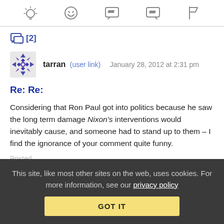[toolbar icons: lightbulb, grin-face, left-quote, right-quote, flag]
[2]
tarran (user link)   January 28, 2012 at 2:31 pm
Re: Re:
Considering that Ron Paul got into politics because he saw the long term damage Nixon's interventions would inevitably cause, and someone had to stand up to them – I find the ignorance of your comment quite funny.
This site, like most other sites on the web, uses cookies. For more information, see our privacy policy
GOT IT